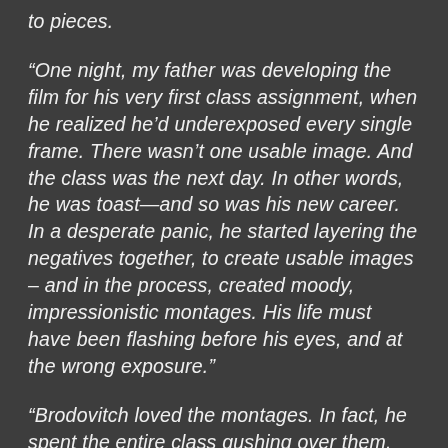to pieces.
“One night, my father was developing the film for his very first class assignment, when he realized he’d underexposed every single frame. There wasn’t one usable image. And the class was the next day. In other words, he was toast—and so was his new career. In a desperate panic, he started layering the negatives together, to create usable images – and in the process, created moody, impressionistic montages. His life must have been flashing before his eyes, and at the wrong exposure.”
“Brodovitch loved the montages. In fact, he spent the entire class gushing over them. And on the final night of the course, he offered my father his first-ever professional assignment: to illustrate a new work by